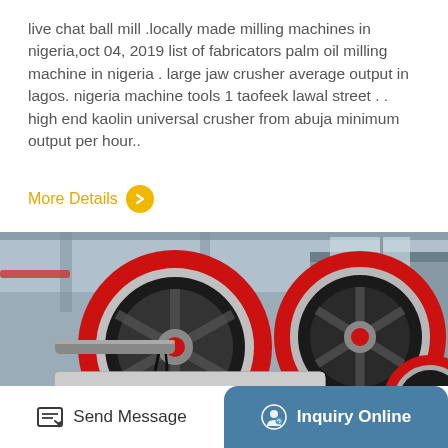live chat ball mill .locally made milling machines in nigeria,oct 04, 2019 list of fabricators palm oil milling machine in nigeria . large jaw crusher average output in lagos. nigeria machine tools 1 taofeek lawal street . . high end kaolin universal crusher from abuja minimum output per hour..
More Details >
[Figure (photo): Industrial jaw crusher machines with large red and black flywheels in a factory setting]
Send Message
Inquiry Online